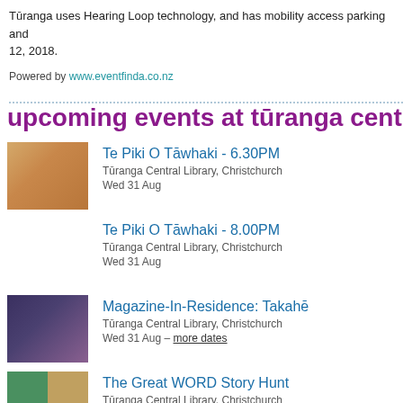Tūranga uses Hearing Loop technology, and has mobility access parking and 12, 2018.
Powered by www.eventfinda.co.nz
upcoming events at tūranga central library
Te Piki O Tāwhaki - 6.30PM
Tūranga Central Library, Christchurch
Wed 31 Aug
Te Piki O Tāwhaki - 8.00PM
Tūranga Central Library, Christchurch
Wed 31 Aug
Magazine-In-Residence: Takahē
Tūranga Central Library, Christchurch
Wed 31 Aug – more dates
The Great WORD Story Hunt
Tūranga Central Library, Christchurch
Sat 3 Sep